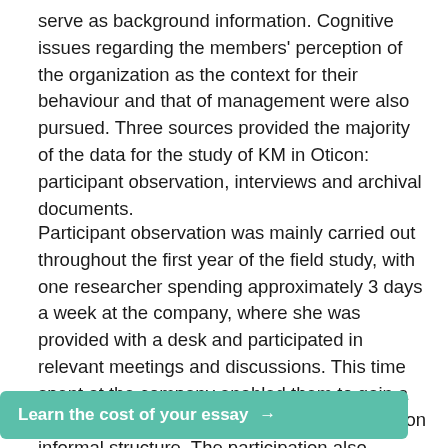serve as background information. Cognitive issues regarding the members' perception of the organization as the context for their behaviour and that of management were also pursued. Three sources provided the majority of the data for the study of KM in Oticon: participant observation, interviews and archival documents.
Participant observation was mainly carried out throughout the first year of the field study, with one researcher spending approximately 3 days a week at the company, where she was provided with a desk and participated in relevant meetings and discussions. This time spent at the company enabled them to gain a familiarity with the company's culture and its informal structure. The participation also encouraged trust-building between the researcher and the organizational members, which again [partially obscured] members' perception
Learn the cost of your essay →